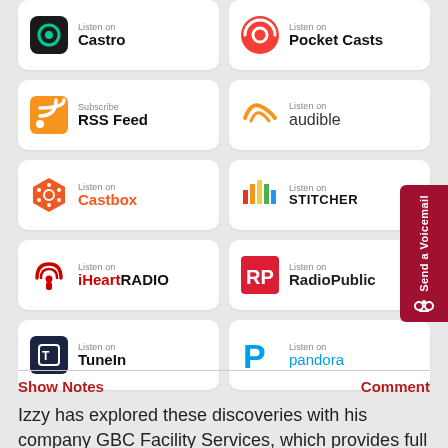[Figure (screenshot): Grid of podcast platform badges: Castro, Pocket Casts, RSS Feed, Audible, Castbox, Stitcher, iHeartRadio, RadioPublic, TuneIn, Pandora]
[Figure (infographic): Send a Voicemail red tab on the right side]
Show Notes
Comment
Izzy has explored these discoveries with his company GBC Facility Services, which provides full